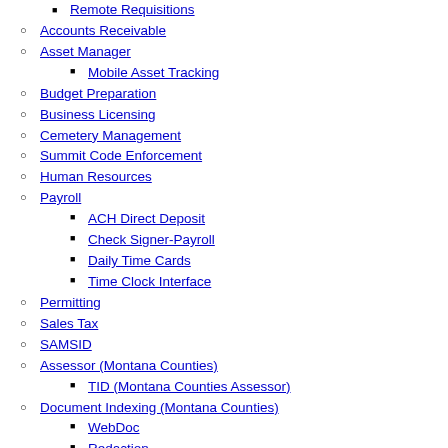Remote Requisitions
Accounts Receivable
Asset Manager
Mobile Asset Tracking
Budget Preparation
Business Licensing
Cemetery Management
Summit Code Enforcement
Human Resources
Payroll
ACH Direct Deposit
Check Signer-Payroll
Daily Time Cards
Time Clock Interface
Permitting
Sales Tax
SAMSID
Assessor (Montana Counties)
TID (Montana Counties Assessor)
Document Indexing (Montana Counties)
WebDoc
Redaction
Tax (Montana Counties)
County Cash Receipting
Outsource Bills
Web R...